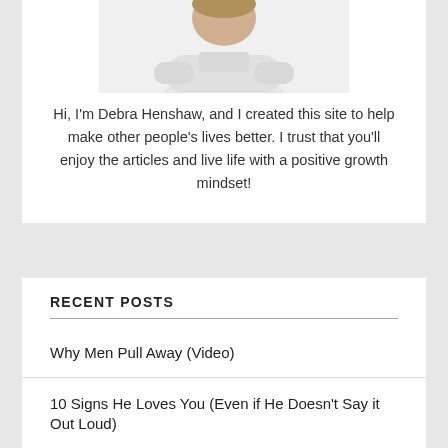[Figure (photo): Partial photo of a person (Debra Henshaw) with arms crossed, wearing a light gray outfit, cropped at the top]
Hi, I'm Debra Henshaw, and I created this site to help make other people's lives better. I trust that you'll enjoy the articles and live life with a positive growth mindset!
RECENT POSTS
Why Men Pull Away (Video)
10 Signs He Loves You (Even if He Doesn't Say it Out Loud)